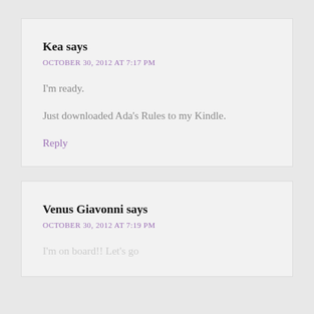Kea says
OCTOBER 30, 2012 AT 7:17 PM
I'm ready.
Just downloaded Ada's Rules to my Kindle.
Reply
Venus Giavonni says
OCTOBER 30, 2012 AT 7:19 PM
I'm on board!! Let's go